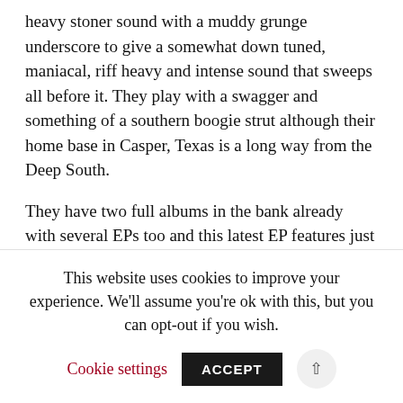heavy stoner sound with a muddy grunge underscore to give a somewhat down tuned, maniacal, riff heavy and intense sound that sweeps all before it. They play with a swagger and something of a southern boogie strut although their home base in Casper, Texas is a long way from the Deep South.
They have two full albums in the bank already with several EPs too and this latest EP features just the four tracks for 14 minutes of hard rock mayhem. The vocals are deep but not dirty and suit the bands hard and riff heavy sound that is probably best served with beer and bourbon chasers in some little back street bar; this is America in the raw and
This website uses cookies to improve your experience. We'll assume you're ok with this, but you can opt-out if you wish.
Cookie settings  ACCEPT